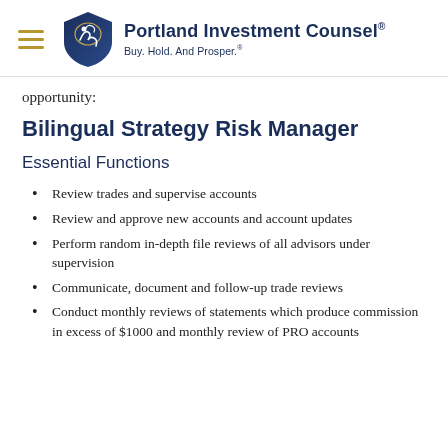Portland Investment Counsel® Buy. Hold. And Prosper.®
opportunity:
Bilingual Strategy Risk Manager
Essential Functions
Review trades and supervise accounts
Review and approve new accounts and account updates
Perform random in-depth file reviews of all advisors under supervision
Communicate, document and follow-up trade reviews
Conduct monthly reviews of statements which produce commission in excess of $1000 and monthly review of PRO accounts